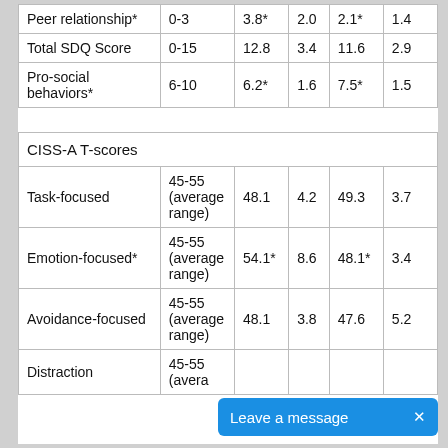|  | Range | M | SD | M | SD |
| --- | --- | --- | --- | --- | --- |
| Peer relationship* | 0-3 | 3.8* | 2.0 | 2.1* | 1.4 |
| Total SDQ Score | 0-15 | 12.8 | 3.4 | 11.6 | 2.9 |
| Pro-social behaviors* | 6-10 | 6.2* | 1.6 | 7.5* | 1.5 |
| CISS-A T-scores |  |  |  |  |  |
| Task-focused | 45-55 (average range) | 48.1 | 4.2 | 49.3 | 3.7 |
| Emotion-focused* | 45-55 (average range) | 54.1* | 8.6 | 48.1* | 3.4 |
| Avoidance-focused | 45-55 (average range) | 48.1 | 3.8 | 47.6 | 5.2 |
| Distraction | 45-55 (average... |  |  |  |  |